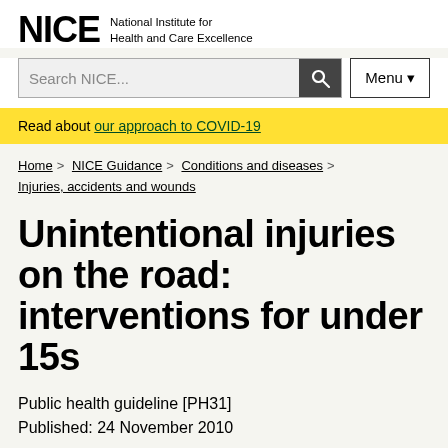NICE National Institute for Health and Care Excellence
Search NICE...
Read about our approach to COVID-19
Home > NICE Guidance > Conditions and diseases > Injuries, accidents and wounds
Unintentional injuries on the road: interventions for under 15s
Public health guideline [PH31]
Published: 24 November 2010